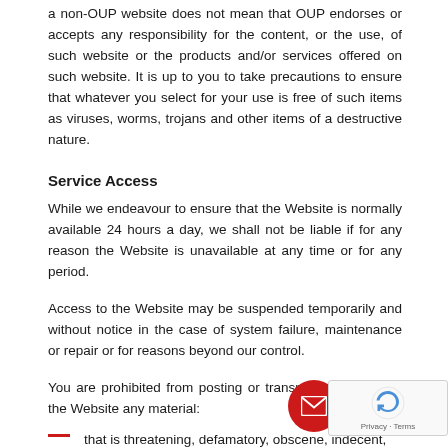a non-OUP website does not mean that OUP endorses or accepts any responsibility for the content, or the use, of such website or the products and/or services offered on such website. It is up to you to take precautions to ensure that whatever you select for your use is free of such items as viruses, worms, trojans and other items of a destructive nature.
Service Access
While we endeavour to ensure that the Website is normally available 24 hours a day, we shall not be liable if for any reason the Website is unavailable at any time or for any period.
Access to the Website may be suspended temporarily and without notice in the case of system failure, maintenance or repair or for reasons beyond our control.
You are prohibited from posting or transmitting to or from the Website any material:
that is threatening, defamatory, obscene, indecent, seditious, offensive, pornographic, abusive, liable to incite racial hatred, discriminatory, menacing, scandalous,